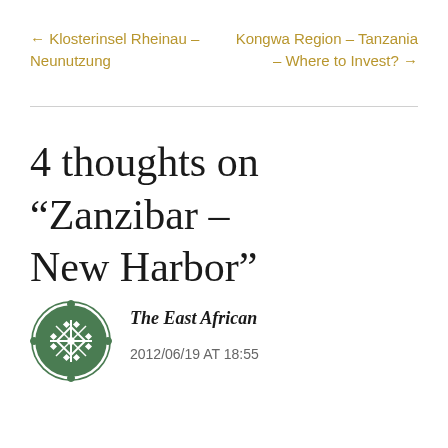← Klosterinsel Rheinau – Neunutzung
Kongwa Region – Tanzania – Where to Invest? →
4 thoughts on “Zanzibar – New Harbor”
[Figure (logo): Green circular emblem/badge with a geometric diamond/cross pattern in white on green background]
The East African
2012/06/19 AT 18:55